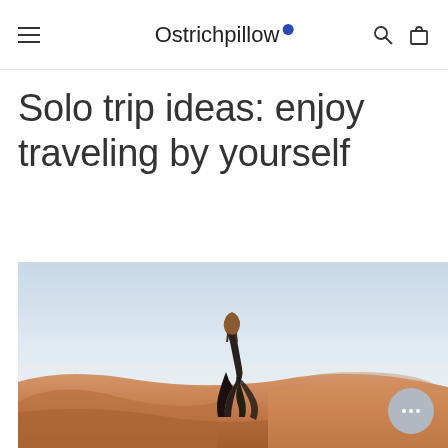Ostrichpillow
Solo trip ideas: enjoy traveling by yourself
[Figure (photo): Woman in black dress standing on orange desert sand dunes under a hazy sky, viewed from behind]